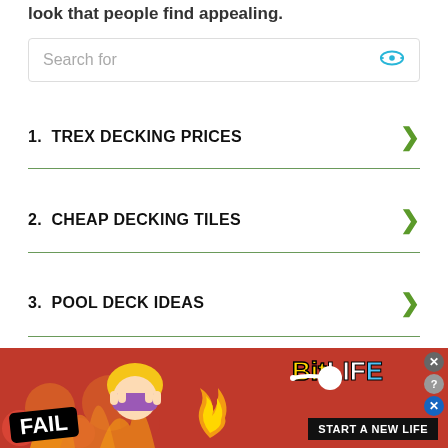look that people find appealing.
1.  TREX DECKING PRICES
2.  CHEAP DECKING TILES
3.  POOL DECK IDEAS
4.  TREX DECKING COLORS
[Figure (screenshot): BitLife mobile ad banner: red background with fire animation, FAIL label, cartoon character, BitLife logo, and START A NEW LIFE tagline]